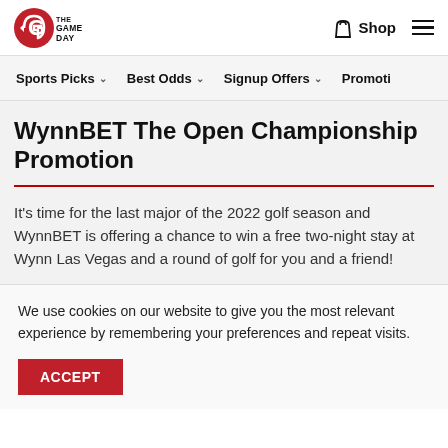THE GAME DAY | Shop | Menu
Sports Picks | Best Odds | Signup Offers | Promotio...
WynnBET The Open Championship Promotion
It's time for the last major of the 2022 golf season and WynnBET is offering a chance to win a free two-night stay at Wynn Las Vegas and a round of golf for you and a friend!
We use cookies on our website to give you the most relevant experience by remembering your preferences and repeat visits.
ACCEPT